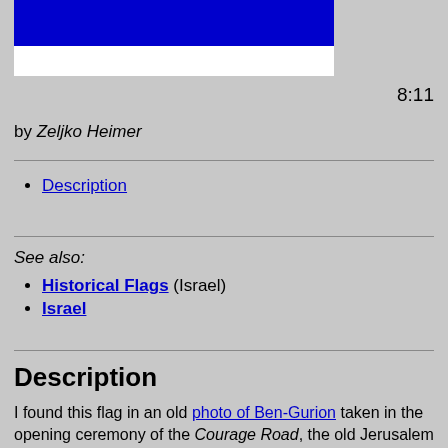[Figure (illustration): Flag of Israel: blue stripe on top, white stripe below, partial view]
8:11
by Zeljko Heimer
Description
See also:
Historical Flags (Israel)
Israel
Description
I found this flag in an old photo of Ben-Gurion taken in the opening ceremony of the Courage Road, the old Jerusalem highway linking Tel-Aviv with Jerusalem. It was taken on Kislev 5708 ("Tashakh"), that is November-December 1947, meaning before the establishment of the State of Israel. It looked like the current Israeli flag, with a change: the star of David in the middle was not a wire star, but a filled one. Also, the tint seemed darker than the current one, but one cannot tell, since it is black and white